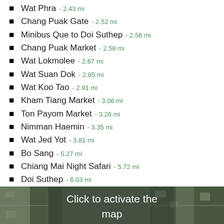Wat Phra - 2.43 mi
Chang Puak Gate - 2.52 mi
Minibus Que to Doi Suthep - 2.56 mi
Chang Puak Market - 2.58 mi
Wat Lokmolee - 2.67 mi
Wat Suan Dok - 2.85 mi
Wat Koo Tao - 2.91 mi
Kham Tiang Market - 3.06 mi
Ton Payom Market - 3.26 mi
Nimman Haemin - 3.35 mi
Wat Jed Yot - 3.81 mi
Bo Sang - 5.27 mi
Chiang Mai Night Safari - 5.72 mi
Doi Suthep - 6.03 mi
[Figure (map): Satellite aerial map of Chiang Mai with overlay text 'Click to activate the map']